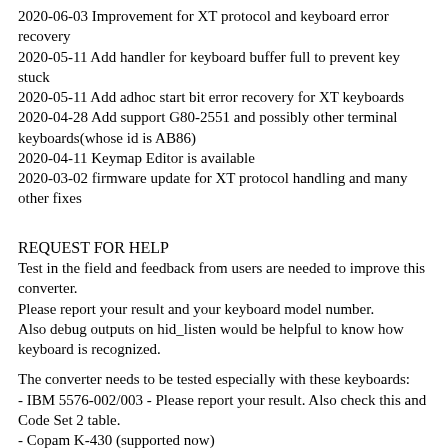2020-06-03 Improvement for XT protocol and keyboard error recovery
2020-05-11 Add handler for keyboard buffer full to prevent key stuck
2020-05-11 Add adhoc start bit error recovery for XT keyboards
2020-04-28 Add support G80-2551 and possibly other terminal keyboards(whose id is AB86)
2020-04-11 Keymap Editor is available
2020-03-02 firmware update for XT protocol handling and many other fixes
REQUEST FOR HELP
Test in the field and feedback from users are needed to improve this converter.
Please report your result and your keyboard model number.
Also debug outputs on hid_listen would be helpful to know how keyboard is recognized.
The converter needs to be tested especially with these keyboards:
- IBM 5576-002/003 - Please report your result. Also check this and Code Set 2 table.
- Copam K-430 (supported now)
- IBM 5576-001 Supported now!  2021-06-01